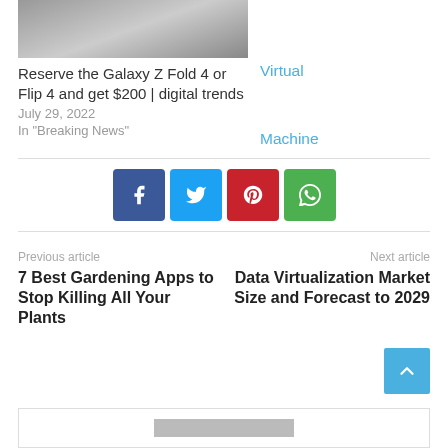[Figure (photo): Partial thumbnail image of phone/tablet device at top left]
Virtual
Reserve the Galaxy Z Fold 4 or Flip 4 and get $200 | digital trends
July 29, 2022
In "Breaking News"
Machine
[Figure (infographic): Social sharing buttons: Facebook (blue), Twitter (light blue), Pinterest (red), WhatsApp (green)]
Previous article
Next article
7 Best Gardening Apps to Stop Killing All Your Plants
Data Virtualization Market Size and Forecast to 2029